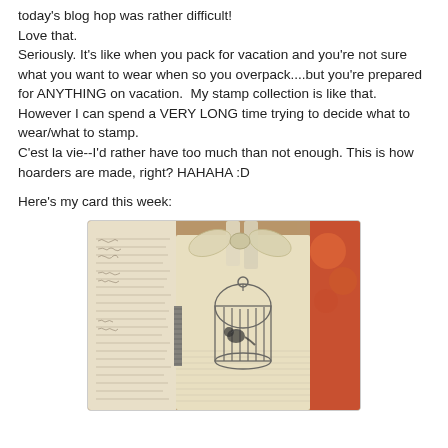today's blog hop was rather difficult! Love that. Seriously. It's like when you pack for vacation and you're not sure what you want to wear when so you overpack....but you're prepared for ANYTHING on vacation.  My stamp collection is like that.  However I can spend a VERY LONG time trying to decide what to wear/what to stamp. C'est la vie--I'd rather have too much than not enough. This is how hoarders are made, right? HAHAHA :D
Here's my card this week:
[Figure (photo): A handmade greeting card featuring a birdcage stamp with a bird, music sheet patterned paper, script patterned paper on the left, a floral orange/red background, and a large cream ribbon bow at the top.]